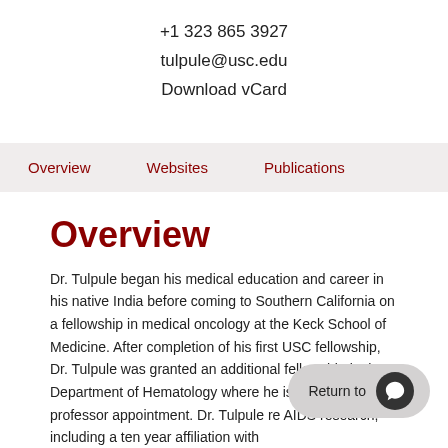+1 323 865 3927
tulpule@usc.edu
Download vCard
Overview   Websites   Publications
Overview
Dr. Tulpule began his medical education and career in his native India before coming to Southern California on a fellowship in medical oncology at the Keck School of Medicine. After completion of his first USC fellowship, Dr. Tulpule was granted an additional fellowship in the Department of Hematology where he is currently ho... professor appointment. Dr. Tulpule re... AIDS research, including a ten year affiliation with